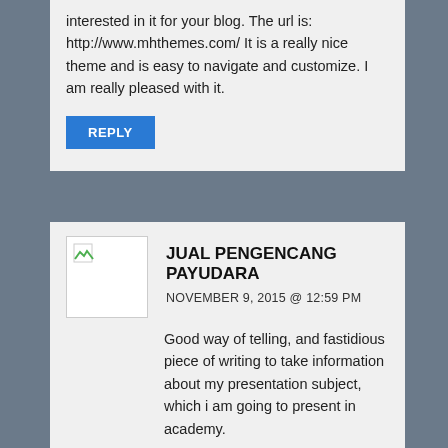interested in it for your blog. The url is: http://www.mhthemes.com/ It is a really nice theme and is easy to navigate and customize. I am really pleased with it.
REPLY
JUAL PENGENCANG PAYUDARA
NOVEMBER 9, 2015 @ 12:59 PM
Good way of telling, and fastidious piece of writing to take information about my presentation subject, which i am going to present in academy.
REPLY